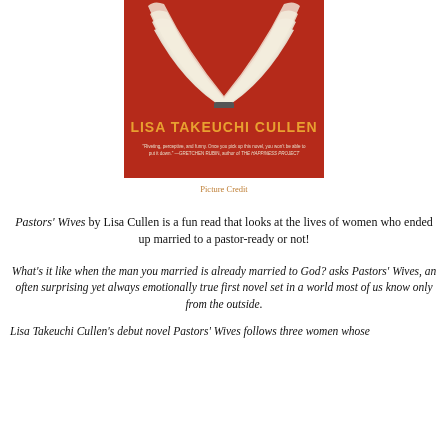[Figure (photo): Book cover of Pastors' Wives by Lisa Takeuchi Cullen, red cover with image of open book pages forming a heart shape, author name in gold text, and a blurb from Gretchen Rubin]
Picture Credit
Pastors' Wives by Lisa Cullen is a fun read that looks at the lives of women who ended up married to a pastor-ready or not!
What's it like when the man you married is already married to God? asks Pastors' Wives, an often surprising yet always emotionally true first novel set in a world most of us know only from the outside.
Lisa Takeuchi Cullen's debut novel Pastors' Wives follows three women whose